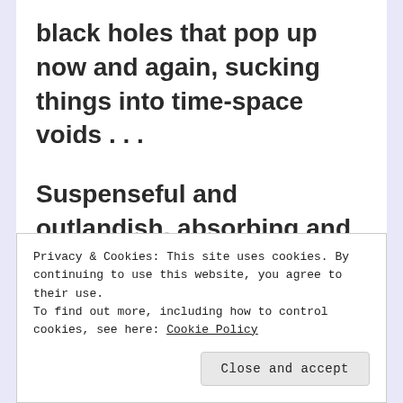black holes that pop up now and again, sucking things into time-space voids . . .
Suspenseful and outlandish, absorbing and fun, The Eyre Affair is a caper unlike any other and an introduction to
Privacy & Cookies: This site uses cookies. By continuing to use this website, you agree to their use.
To find out more, including how to control cookies, see here: Cookie Policy
Close and accept